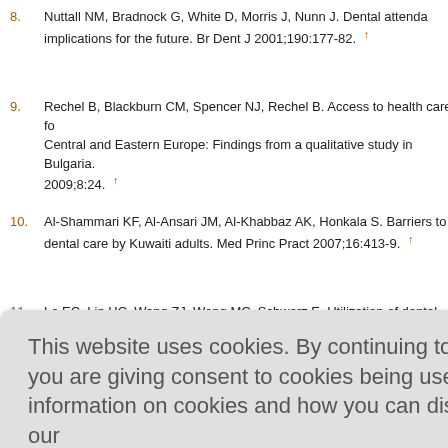8. Nuttall NM, Bradnock G, White D, Morris J, Nunn J. Dental attendance and implications for the future. Br Dent J 2001;190:177-82. ↑
9. Rechel B, Blackburn CM, Spencer NJ, Rechel B. Access to health care for Central and Eastern Europe: Findings from a qualitative study in Bulgaria. 2009;8:24. ↑
10. Al-Shammari KF, Al-Ansari JM, Al-Khabbaz AK, Honkala S. Barriers to seeking dental care by Kuwaiti adults. Med Princ Pract 2007;16:413-9. ↑
11. Lo EC, Lin HC, Wang ZJ, Wong MC, Schwarz E. Utilization of dental services in China. J Dent Res 2001;80:1471-4. ↑
This website uses cookies. By continuing to use this website you are giving consent to cookies being used. For information on cookies and how you can disable them visit our Privacy and Cookie Policy. AGREE & PROCEED
...ural South In...
...ic factors a... India - A...
...ices in a fie... ↑
...Turkish pop... Germany. Int Dent J 2002;52:144-50. ↑